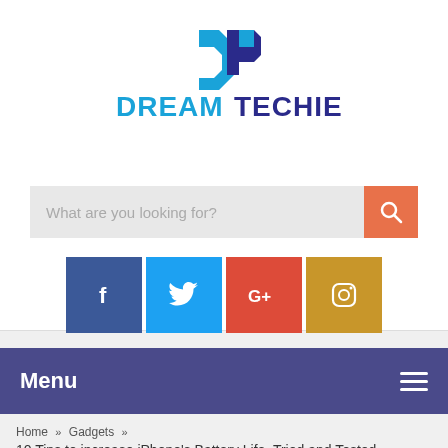[Figure (logo): DreamTechie logo with stylized DT icon above text DREAMTECHIE in blue and purple]
[Figure (screenshot): Search bar with placeholder text 'What are you looking for?' and an orange search button with magnifying glass icon]
[Figure (infographic): Four social media icon buttons: Facebook (dark blue), Twitter (light blue), Google+ (red), Instagram (gold)]
Menu
Home » Gadgets »
10 Tips to increase iPhone's Battery Life, Tried and Tested